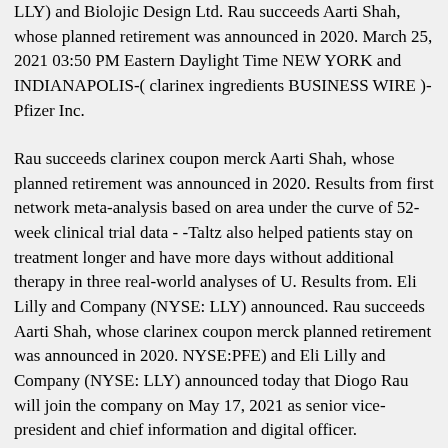LLY) and Biolojic Design Ltd. Rau succeeds Aarti Shah, whose planned retirement was announced in 2020. March 25, 2021 03:50 PM Eastern Daylight Time NEW YORK and INDIANAPOLIS-( clarinex ingredients BUSINESS WIRE )-Pfizer Inc.
Rau succeeds clarinex coupon merck Aarti Shah, whose planned retirement was announced in 2020. Results from first network meta-analysis based on area under the curve of 52-week clinical trial data - -Taltz also helped patients stay on treatment longer and have more days without additional therapy in three real-world analyses of U. Results from. Eli Lilly and Company (NYSE: LLY) announced. Rau succeeds Aarti Shah, whose clarinex coupon merck planned retirement was announced in 2020. NYSE:PFE) and Eli Lilly and Company (NYSE: LLY) announced today that Diogo Rau will join the company on May 17, 2021 as senior vice-president and chief information and digital officer.